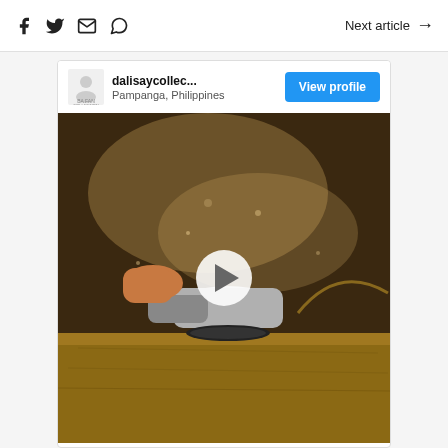Social share icons (Facebook, Twitter, Email, WhatsApp) | Next article →
[Figure (screenshot): Profile card for dalisaycollec... from Pampanga, Philippines with a View profile button and a video thumbnail showing a person using an angle grinder on wood with a play button overlay]